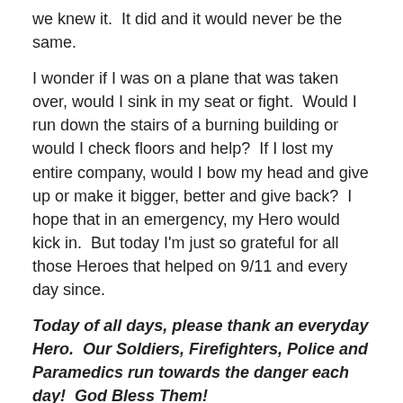we knew it.  It did and it would never be the same.
I wonder if I was on a plane that was taken over, would I sink in my seat or fight.  Would I run down the stairs of a burning building or would I check floors and help?  If I lost my entire company, would I bow my head and give up or make it bigger, better and give back?  I hope that in an emergency, my Hero would kick in.  But today I'm just so grateful for all those Heroes that helped on 9/11 and every day since.
Today of all days, please thank an everyday Hero.  Our Soldiers, Firefighters, Police and Paramedics run towards the danger each day!  God Bless Them!
**Please click here to donate to the Cantor Fitzgerald Charity 2018!